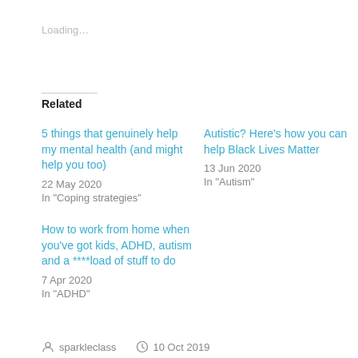Loading…
Related
5 things that genuinely help my mental health (and might help you too)
22 May 2020
In "Coping strategies"
Autistic? Here's how you can help Black Lives Matter
13 Jun 2020
In "Autism"
How to work from home when you've got kids, ADHD, autism and a ****load of stuff to do
7 Apr 2020
In "ADHD"
sparkleclass   10 Oct 2019